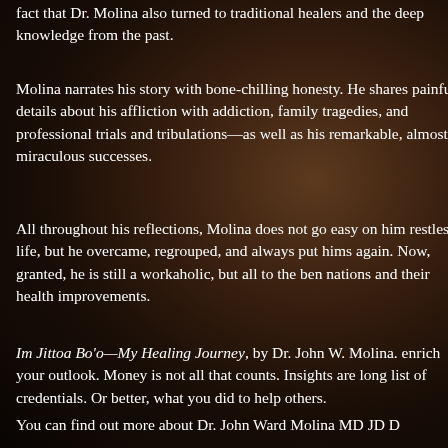fact that Dr. Molina also turned to traditional healers and the deep knowledge from the past.
Molina narrates his story with bone-chilling honesty. He shares painful details about his affliction with addiction, family tragedies, and professional trials and tribulations—as well as his remarkable, almost miraculous successes.
All throughout his reflections, Molina does not go easy on him restless life, but he overcame, regrouped, and always put hims again. Now, granted, he is still a workaholic, but all to the ben nations and their health improvements.
Im Jittoa Bo'o—My Healing Journey, by Dr. John W. Molina. enrich your outlook. Money is not all that counts. Insights are long list of credentials. Or better, what you did to help others.
You can find out more about Dr. John Ward Molina MD JD D